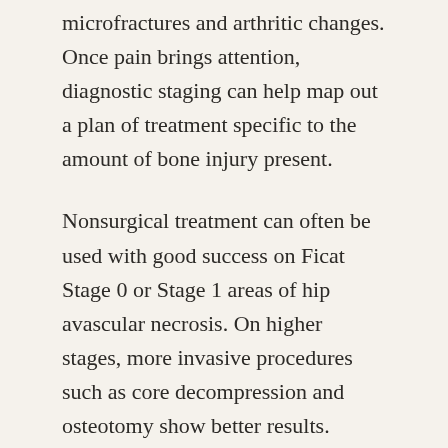microfractures and arthritic changes. Once pain brings attention, diagnostic staging can help map out a plan of treatment specific to the amount of bone injury present.
Nonsurgical treatment can often be used with good success on Ficat Stage 0 or Stage 1 areas of hip avascular necrosis. On higher stages, more invasive procedures such as core decompression and osteotomy show better results. Hemiarthroplasty and Total Hip Arthroplasty are options wherein the bone and cartilage components of the hip socket are replaced with artificial materials. Hip replacement allows renewal of movement in the largest joint of the body and comes as a true blessing to many who otherwise find their lives limited by pain and